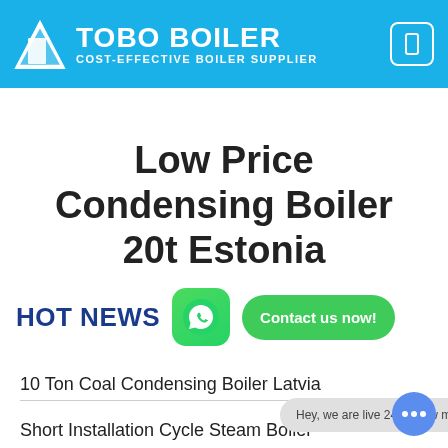TOBO BOILER - COST-EFFECTIVE BOILER SUPPLIER
Low Price Condensing Boiler 20t Estonia
HOT NEWS
10 Ton Coal Condensing Boiler Latvia
Short Installation Cycle Steam Boiler